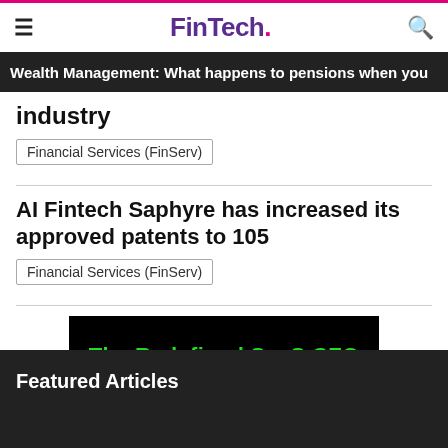FinTech.
Wealth Management: What happens to pensions when you
industry
Financial Services (FinServ)
AI Fintech Saphyre has increased its approved patents to 105
Financial Services (FinServ)
[Figure (other): Advertisement banner with black background and green bold text reading 'The Redefined SaaS CFO']
Featured Articles